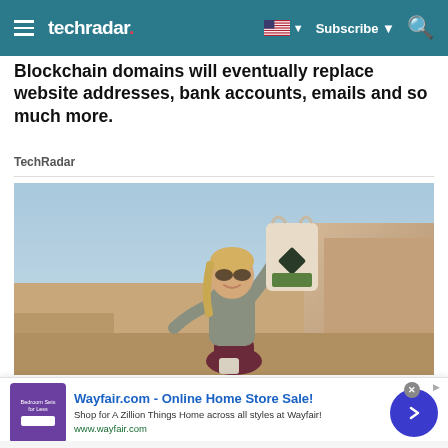techradar
Blockchain domains will eventually replace website addresses, bank accounts, emails and so much more.
TechRadar
[Figure (photo): Woman outdoors on cliff/rocky landscape holding up a bag (product packaging) and smiling, wearing sunglasses and athletic wear]
[Figure (infographic): Wayfair.com advertisement banner - Online Home Store Sale! Shop for A Zillion Things Home across all styles at Wayfair! www.wayfair.com]